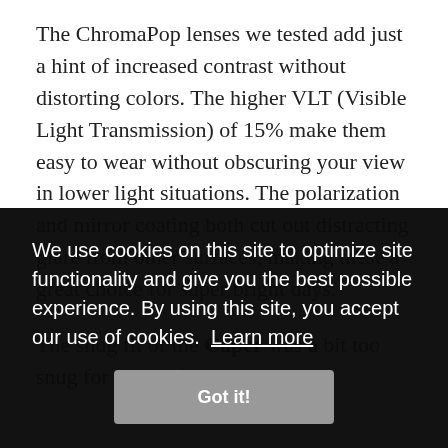The ChromaPop lenses we tested add just a hint of increased contrast without distorting colors. The higher VLT (Visible Light Transmission) of 15% make them easy to wear without obscuring your view in lower light situations. The polarization and mirror coating both cut out distracting glare from other surfaces, making these a great choice for super bright days.
The snug fit of the Caper was a bit too snug for some of our [text continues behind overlay] skull [text continues] all day, after a or [text continues] er bag [text continues] most stick to the lenses without really cleaning anything off of
We use cookies on this site to optimize site functionality and give you the best possible experience. By using this site, you accept our use of cookies. Learn more